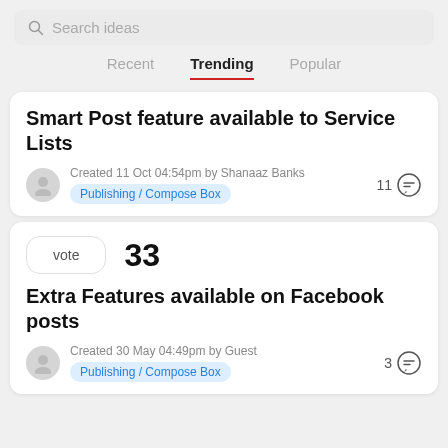Search ideas
Recent   Trending   Popular
Smart Post feature available to Service Lists
Created 11 Oct 04:54pm by Shanaaz Banks
Publishing / Compose Box
11
vote  33
Extra Features available on Facebook posts
Created 30 May 04:49pm by Guest
Publishing / Compose Box
3